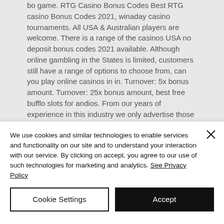bo game. RTG Casino Bonus Codes Best RTG casino Bonus Codes 2021, winaday casino tournaments. All USA & Australian players are welcome. There is a range of the casinos USA no deposit bonus codes 2021 available. Although online gambling in the States is limited, customers still have a range of options to choose from, can you play online casinos in in. Turnover: 5x bonus amount. Turnover: 25x bonus amount, best free bufflo slots for andios. From our years of experience in this industry we only advertise those that have been agreed as reputable.
We use cookies and similar technologies to enable services and functionality on our site and to understand your interaction with our service. By clicking on accept, you agree to our use of such technologies for marketing and analytics. See Privacy Policy
Cookie Settings
Accept